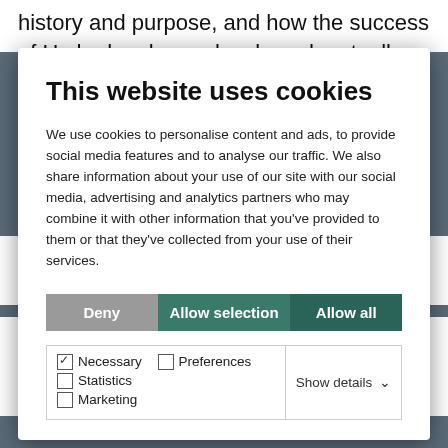history and purpose, and how the success of Hydro has been closely and mutually interlinked with the
This website uses cookies
We use cookies to personalise content and ads, to provide social media features and to analyse our traffic. We also share information about your use of our site with our social media, advertising and analytics partners who may combine it with other information that you've provided to them or that they've collected from your use of their services.
Deny | Allow selection | Allow all
Necessary  Preferences  Statistics  Marketing  Show details
pandemic has been distressful for our employees all over the world.
Sadly, we are mourning the loss of 35 good Hydro colleagues and contractors due to Covid-19 during